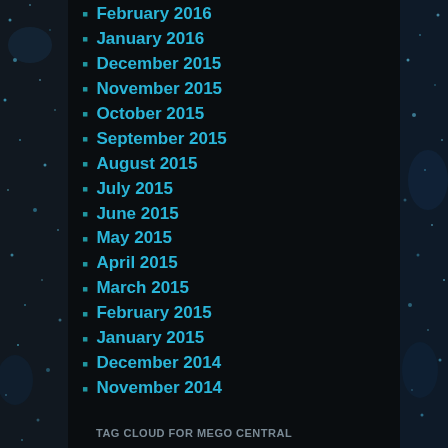February 2016
January 2016
December 2015
November 2015
October 2015
September 2015
August 2015
July 2015
June 2015
May 2015
April 2015
March 2015
February 2015
January 2015
December 2014
November 2014
TAG CLOUD FOR MEGO CENTRAL
70s toys action figures azrak hamway bootleg toys brick mantooth Dr Mego knock off action figures